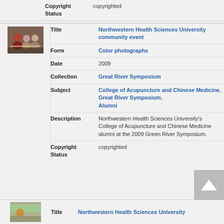| Field | Value |
| --- | --- |
| Copyright Status | copyrighted |
[Figure (photo): Thumbnail photo of people at a community event, sitting at tables]
| Field | Value |
| --- | --- |
| Title | Northwestern Health Sciences University community event |
| Form | Color photographs |
| Date | 2009 |
| Collection | Great River Symposium |
| Subject | College of Acupuncture and Chinese Medicine, Great River Symposium, Alumni |
| Description | Northwestern Health Sciences University's College of Acupuncture and Chinese Medicine alumni at the 2009 Green River Symposium. |
| Copyright Status | copyrighted |
[Figure (photo): Thumbnail photo partially visible at bottom of page]
Title
Northwestern Health Sciences University